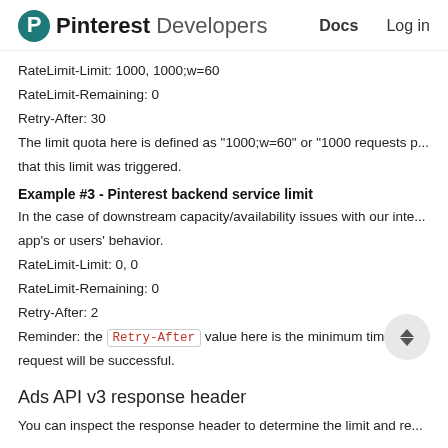Pinterest Developers  Docs  Log in
RateLimit-Limit: 1000, 1000;w=60
RateLimit-Remaining: 0
Retry-After: 30
The limit quota here is defined as "1000;w=60" or "1000 requests per that this limit was triggered.
Example #3 - Pinterest backend service limit
In the case of downstream capacity/availability issues with our inte app's or users' behavior.
RateLimit-Limit: 0, 0
RateLimit-Remaining: 0
Retry-After: 2
Reminder: the Retry-After value here is the minimum time you request will be successful.
Ads API v3 response header
You can inspect the response header to determine the limit and re